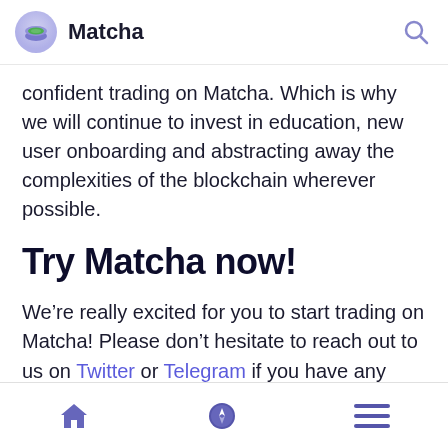Matcha
confident trading on Matcha. Which is why we will continue to invest in education, new user onboarding and abstracting away the complexities of the blockchain wherever possible.
Try Matcha now!
We’re really excited for you to start trading on Matcha! Please don’t hesitate to reach out to us on Twitter or Telegram if you have any questions. We’d love to hear your ideas for how we can make Matcha even better. Thank you to everyone
Home | Compass | Menu